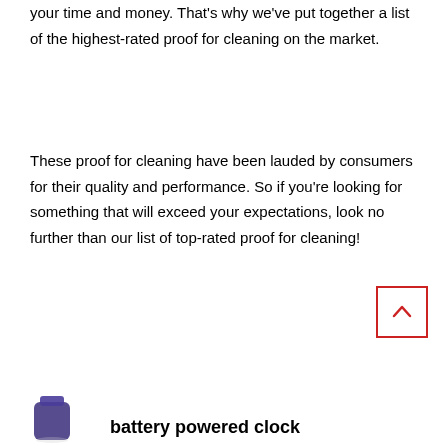your time and money. That's why we've put together a list of the highest-rated proof for cleaning on the market.
These proof for cleaning have been lauded by consumers for their quality and performance. So if you're looking for something that will exceed your expectations, look no further than our list of top-rated proof for cleaning!
[Figure (other): Back to top button with upward chevron arrow, red border]
[Figure (photo): Product image - small container partially visible at bottom left]
battery powered clock